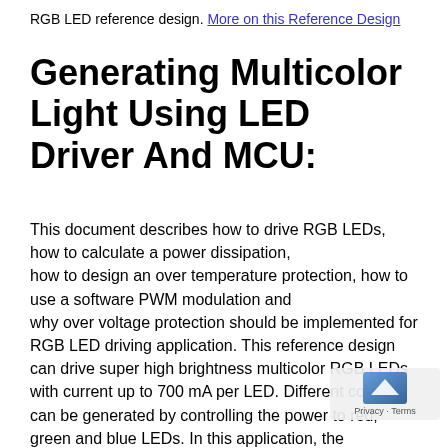RGB LED reference design. More on this Reference Design
Generating Multicolor Light Using LED Driver And MCU:
This document describes how to drive RGB LEDs, how to calculate a power dissipation, how to design an over temperature protection, how to use a software PWM modulation and why over voltage protection should be implemented for RGB LED driving application. This reference design can drive super high brightness multicolor RGB LEDs with current up to 700 mA per LED. Different colors can be generated by controlling the power to red, green and blue LEDs. In this application, the microcontroller ST7FLITE09Y0M6 from ST Microelectronics provides three software PWM signals for LED drivers STP04CM596 so the color can be regulated. The LED over